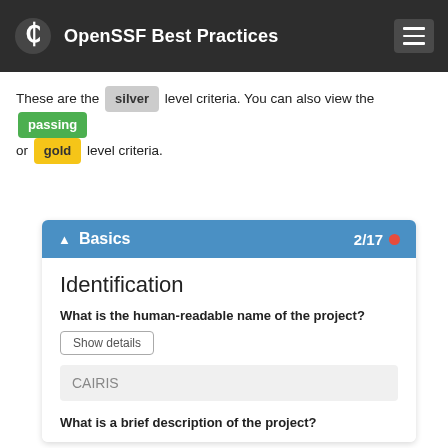OpenSSF Best Practices
These are the silver level criteria. You can also view the passing or gold level criteria.
Basics 2/17
Identification
What is the human-readable name of the project?
Show details
CAIRIS
What is a brief description of the project?